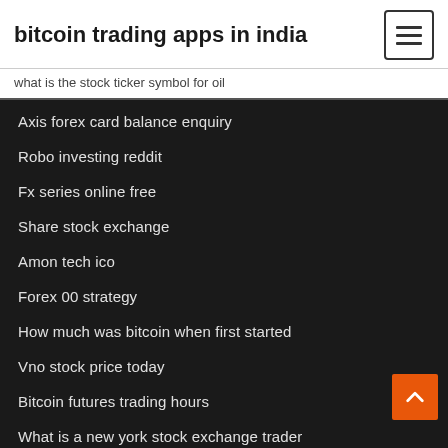bitcoin trading apps in india
what is the stock ticker symbol for oil
Axis forex card balance enquiry
Robo investing reddit
Fx series online free
Share stock exchange
Amon tech ico
Forex 00 strategy
How much was bitcoin when first started
Vno stock price today
Bitcoin futures trading hours
What is a new york stock exchange trader